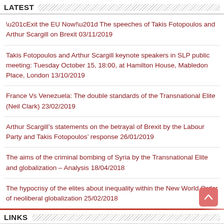LATEST
“Exit the EU Now!” The speeches of Takis Fotopoulos and Arthur Scargill on Brexit 03/11/2019
Takis Fotopoulos and Arthur Scargill keynote speakers in SLP public meeting: Tuesday October 15, 18:00, at Hamilton House, Mabledon Place, London 13/10/2019
France Vs Venezuela: The double standards of the Transnational Elite (Neil Clark) 23/02/2019
Arthur Scargill’s statements on the betrayal of Brexit by the Labour Party and Takis Fotopoulos’ response 26/01/2019
The aims of the criminal bombing of Syria by the Transnational Elite and globalization – Analysis 18/04/2018
The hypocrisy of the elites about inequality within the New World Order of neoliberal globalization 25/02/2018
LINKS